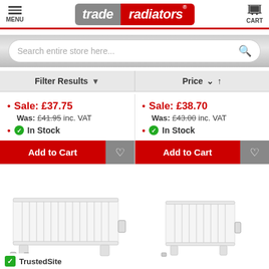[Figure (screenshot): Trade Radiators website header with menu, logo and cart]
Search entire store here...
Filter Results ▼   Price ∨ ↑
Sale: £37.75
Was: £41.95 inc. VAT
In Stock
Sale: £38.70
Was: £43.00 inc. VAT
In Stock
[Figure (photo): White panel radiator product image - left]
[Figure (photo): White panel radiator product image - right]
TrustedSite